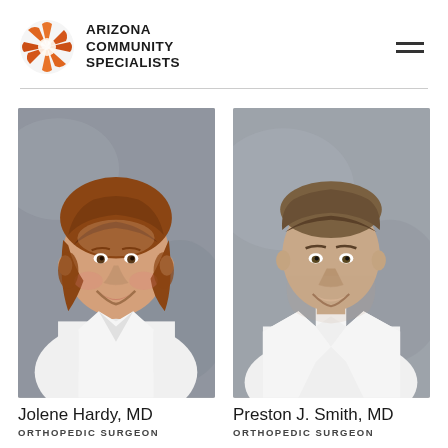[Figure (logo): Arizona Community Specialists logo with orange/red sun-like circular icon and bold text]
[Figure (photo): Professional headshot of Jolene Hardy, MD, a woman in a white lab coat with reddish-brown hair, smiling, against a grey background]
Jolene Hardy, MD
ORTHOPEDIC SURGEON
[Figure (photo): Professional headshot of Preston J. Smith, MD, a man in a white lab coat with a dark tie, smiling, against a grey background]
Preston J. Smith, MD
ORTHOPEDIC SURGEON